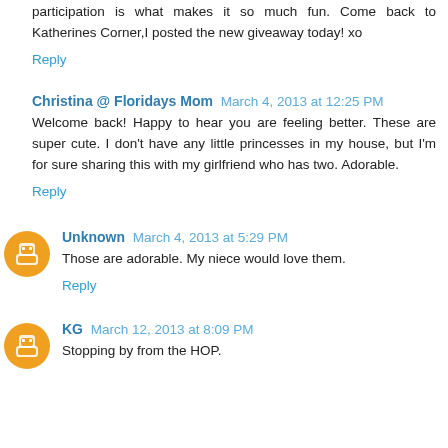participation is what makes it so much fun. Come back to Katherines Corner,I posted the new giveaway today! xo
Reply
Christina @ Floridays Mom March 4, 2013 at 12:25 PM
Welcome back! Happy to hear you are feeling better. These are super cute. I don't have any little princesses in my house, but I'm for sure sharing this with my girlfriend who has two. Adorable.
Reply
Unknown March 4, 2013 at 5:29 PM
Those are adorable. My niece would love them.
Reply
KG March 12, 2013 at 8:09 PM
Stopping by from the HOP.